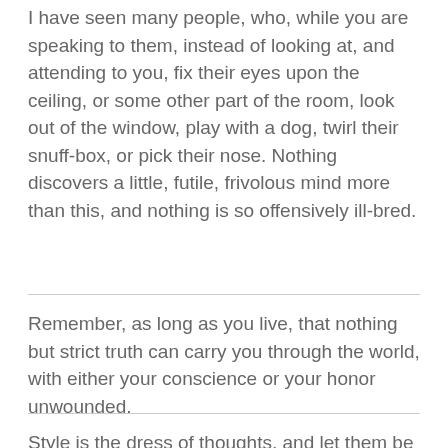I have seen many people, who, while you are speaking to them, instead of looking at, and attending to you, fix their eyes upon the ceiling, or some other part of the room, look out of the window, play with a dog, twirl their snuff-box, or pick their nose. Nothing discovers a little, futile, frivolous mind more than this, and nothing is so offensively ill-bred.
Remember, as long as you live, that nothing but strict truth can carry you through the world, with either your conscience or your honor unwounded.
Style is the dress of thoughts, and let them be ever so just.